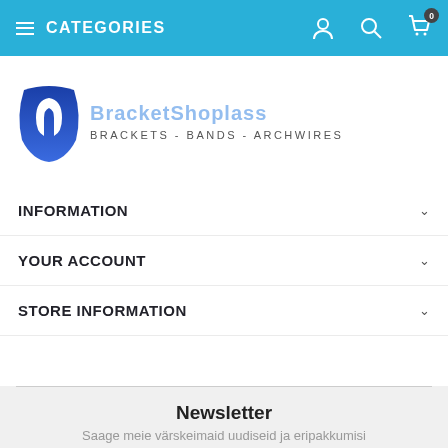CATEGORIES
[Figure (logo): Brackets/bands/archwires dental supply shop logo with blue tooth icon and text 'BRACKETS - BANDS - ARCHWIRES']
INFORMATION
YOUR ACCOUNT
STORE INFORMATION
Newsletter
Saage meie värskeimaid uudiseid ja eripakkumisi
Teie e-posti aadress
TELLI